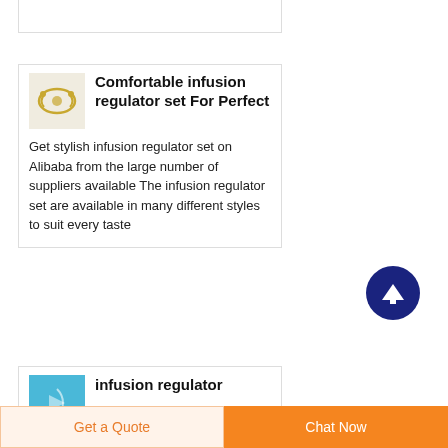[Figure (other): Product card with partial view at top]
[Figure (photo): Small product thumbnail image of infusion regulator set on beige background with golden medical clip design]
Comfortable infusion regulator set For Perfect
Get stylish infusion regulator set on Alibaba from the large number of suppliers available The infusion regulator set are available in many different styles to suit every taste
[Figure (other): Scroll to top button — dark navy circular button with upward arrow]
[Figure (photo): Small blue product thumbnail image of infusion regulator]
infusion regulator
Get a Quote  |  Chat Now